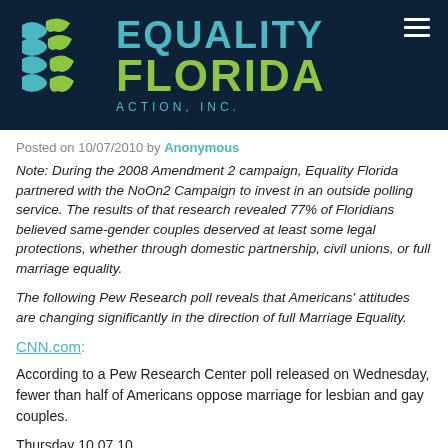[Figure (logo): Equality Florida Action, Inc. logo with teal and green wave/flag icon on dark navy background]
Posted on 10/07/2010 by Anonymous
Note: During the 2008 Amendment 2 campaign, Equality Florida partnered with the NoOn2 Campaign to invest in an outside polling service. The results of that research revealed 77% of Floridians believed same-gender couples deserved at least some legal protections, whether through domestic partnership, civil unions, or full marriage equality.
The following Pew Research poll reveals that Americans' attitudes are changing significantly in the direction of full Marriage Equality.
CNN.com:
According to a Pew Research Center poll released on Wednesday, fewer than half of Americans oppose marriage for lesbian and gay couples.
Thursday 10.07.10